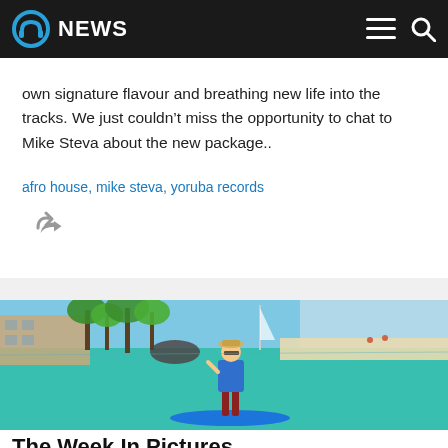NEWS
own signature flavour and breathing new life into the tracks. We just couldn't miss the opportunity to chat to Mike Steva about the new package..
afro house, mike steva, yoruba records
[Figure (photo): Woman standing on a paddleboard on a turquoise lagoon, with palm trees and a white sandy beach in the background. She is wearing a blue t-shirt, red shorts, sunglasses and a hat.]
The Week In Pictures